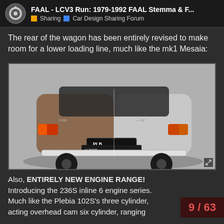FAAL - LCV3 Run: 1979-1992 FAAL Stemma & F... | Sharing | Car Design Sharing Forum
The rear of the wagon has been entirely revised to make room for a lower loading line, much like the mk1 Mesaia:
[Figure (photo): Rear view of a wagon car (3D render) showing two variants side by side — left side in brown/tan color, right side in silver/grey. The rear features tail lights, a license plate area with 'PLB' and 'U BOT' text, and the car sits on black tires. A white bumper/step is visible at the bottom. An expand icon is in the bottom-right corner.]
Also, ENTIRELY NEW ENGINE RANGE!
Introducing the 236S inline 6 engine series.
Much like the Plebia 102S's three cylinder, acting overhead cam six cylinder, ranging
9 / 63